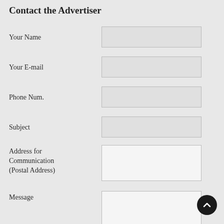Contact the Advertiser
Your Name
Your E-mail
Phone Num.
Subject
Address for Communication (Postal Address)
Message